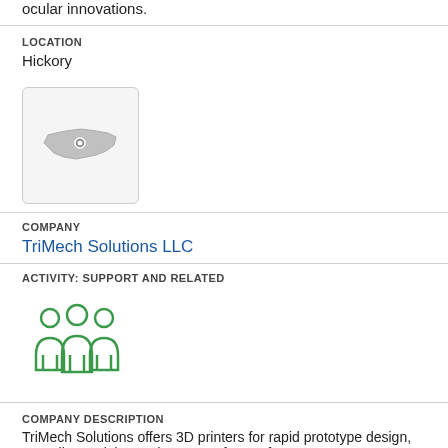ocular innovations.
LOCATION
Hickory
[Figure (map): Small map thumbnail showing the state of North Carolina with a location marker, inside a rounded rectangle box.]
COMPANY
TriMech Solutions LLC
ACTIVITY: SUPPORT AND RELATED
[Figure (illustration): Green line-art icon of three people standing together (group/team icon).]
COMPANY DESCRIPTION
TriMech Solutions offers 3D printers for rapid prototype design, as well as training and support of 3D software.